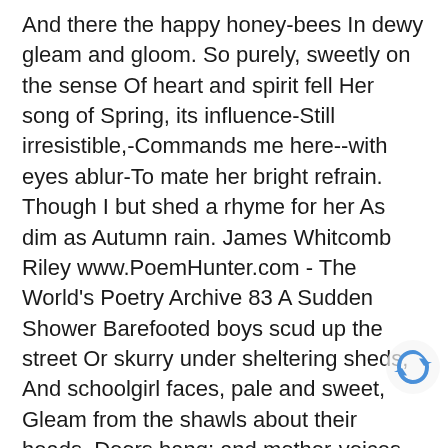And there the happy honey-bees In dewy gleam and gloom. So purely, sweetly on the sense Of heart and spirit fell Her song of Spring, its influence-Still irresistible,-Commands me here--with eyes ablur-To mate her bright refrain. Though I but shed a rhyme for her As dim as Autumn rain. James Whitcomb Riley www.PoemHunter.com - The World's Poetry Archive 83 A Sudden Shower Barefooted boys scud up the street Or skurry under sheltering sheds; And schoolgirl faces, pale and sweet, Gleam from the shawls about their heads. Doors bang; and mother-voices call From alien homes; and rusty gates Are slammed; and high above it all, The thunder grim reverberates. And then, abrupt,--the rain! the rain!-The earth lies gasping; and the eyes Behind the streaming window-pane Smile at the trouble of the skies. The highway smokes; sharp echoes ring; The cattle bawl and cowbells clank; And into town comes galloping The farmer's horse, with